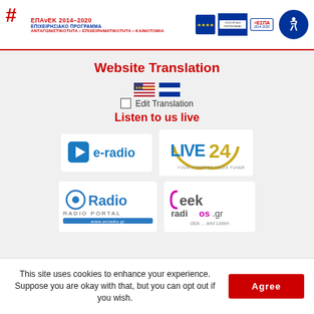[Figure (logo): EPAvEK 2014-2020 ΕΠΙΧΕΙΡΗΣΙΑΚΟ ΠΡΟΓΡΑΜΜΑ ΑΝΤΑΓΩΝΙΣΤΙΚΟΤΗΤΑ ΕΠΙΧΕΙΡΗΜΑΤΙΚΟΤΗΤΑ ΚΑΙΝΟΤΟΜΙΑ program banner with EU flag, ΕΣΠΑ logo, and accessibility icon]
Website Translation
[Figure (illustration): US flag and Greek flag icons]
Edit Translation
Listen to us live
[Figure (logo): e-radio logo with play button icon]
[Figure (logo): LIVE24 YOUR INTERNET MEDIA TUNER logo]
[Figure (logo): OnRadio RADIO PORTAL logo]
[Figure (logo): Geek radios.gr click...and Listen logo]
This site uses cookies to enhance your experience. Suppose you are okay with that, but you can opt out if you wish.